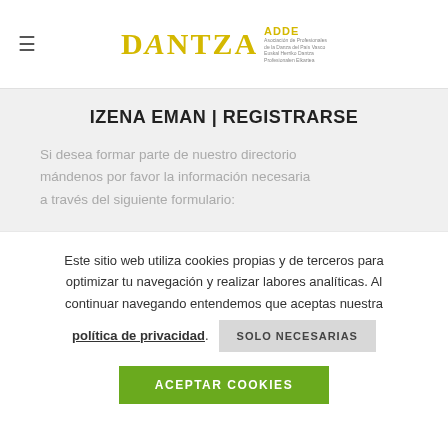[Figure (logo): DANTZA ADDE logo - Asociación de Profesionales de la Danza del País Vasco, with yellow stylized text and small descriptive text on the right]
IZENA EMAN | REGISTRARSE
Si desea formar parte de nuestro directorio mándenos por favor la información necesaria a través del siguiente formulario:
Este sitio web utiliza cookies propias y de terceros para optimizar tu navegación y realizar labores analíticas. Al continuar navegando entendemos que aceptas nuestra política de privacidad. SOLO NECESARIAS ACEPTAR COOKIES